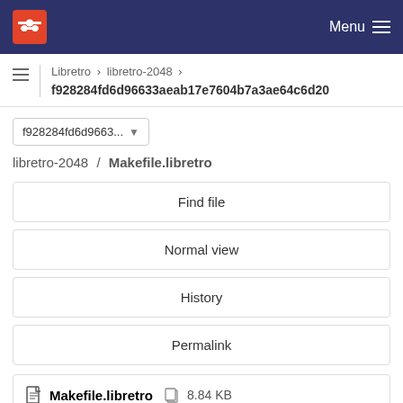Menu
Libretro > libretro-2048 > f928284fd6d96633aeab17e7604b7a3ae64c6d20
f928284fd6d9663...
libretro-2048 / Makefile.libretro
Find file
Normal view
History
Permalink
Makefile.libretro 8.84 KB
Edit Web IDE